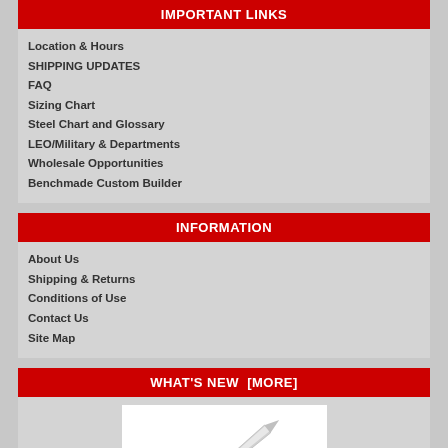IMPORTANT LINKS
Location & Hours
SHIPPING UPDATES
FAQ
Sizing Chart
Steel Chart and Glossary
LEO/Military & Departments
Wholesale Opportunities
Benchmade Custom Builder
INFORMATION
About Us
Shipping & Returns
Conditions of Use
Contact Us
Site Map
WHAT'S NEW  [MORE]
[Figure (photo): A knife with a black handle and silver blade, shown diagonally against a white background]